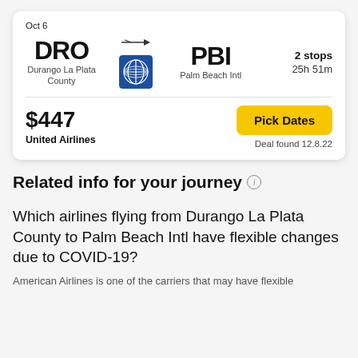Oct 6
[Figure (infographic): Flight card showing DRO to PBI route with United Airlines, 2 stops, 25h 51m, price $447, Pick Dates button, deal found 12.8.22]
Related info for your journey
Which airlines flying from Durango La Plata County to Palm Beach Intl have flexible changes due to COVID-19?
American Airlines is one of the carriers that may have flexible